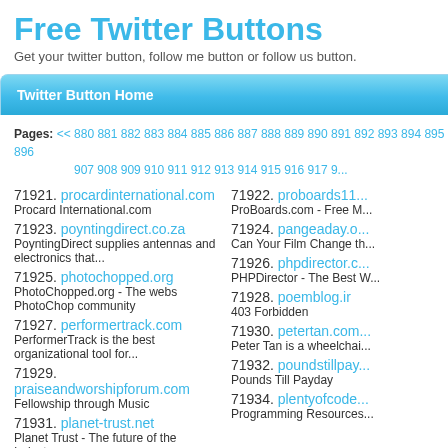Free Twitter Buttons
Get your twitter button, follow me button or follow us button.
Twitter Button Home
Pages: << 880 881 882 883 884 885 886 887 888 889 890 891 892 893 894 895 896 907 908 909 910 911 912 913 914 915 916 917 9...
71921. procardinternational.com
Procard International.com
71922. proboards11...
ProBoards.com - Free M...
71923. poyntingdirect.co.za
PoyntingDirect supplies antennas and electronics that...
71924. pangeaday.o...
Can Your Film Change th...
71925. photochopped.org
PhotoChopped.org - The webs PhotoChop community
71926. phpdirector.c...
PHPDirector - The Best W...
71927. performertrack.com
PerformerTrack is the best organizational tool for...
71928. poemblog.ir
403 Forbidden
71929. praiseandworshipforum.com
Fellowship through Music
71930. petertan.com...
Peter Tan is a wheelchai...
71931. planet-trust.net
Planet Trust - The future of the Industry...
71932. poundstillpay...
Pounds Till Payday
71933. peters.wordpress.com
Peter Schüpbach – NewBorn Blog
71934. plentyofcode...
Programming Resources...